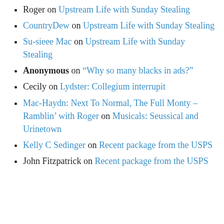Roger on Upstream Life with Sunday Stealing
CountryDew on Upstream Life with Sunday Stealing
Su-sieee Mac on Upstream Life with Sunday Stealing
Anonymous on “Why so many blacks in ads?”
Cecily on Lydster: Collegium interrupit
Mac-Haydn: Next To Normal, The Full Monty – Ramblin’ with Roger on Musicals: Seussical and Urinetown
Kelly C Sedinger on Recent package from the USPS
John Fitzpatrick on Recent package from the USPS